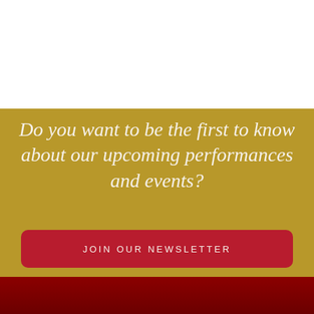Do you want to be the first to know about our upcoming performances and events?
JOIN OUR NEWSLETTER